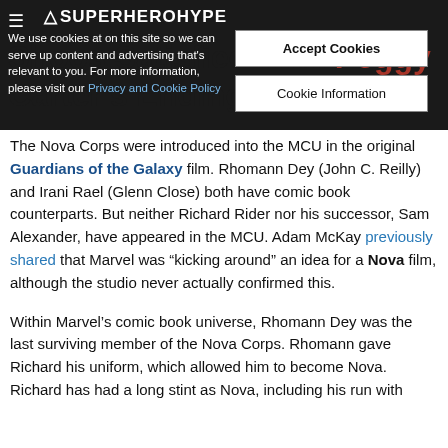SuperHeroHype
We use cookies at on this site so we can serve up content and advertising that's relevant to you. For more information, please visit our Privacy and Cookie Policy
Shoos Satisfied With Peggy Carter's Ending
The Nova Corps were introduced into the MCU in the original Guardians of the Galaxy film. Rhomann Dey (John C. Reilly) and Irani Rael (Glenn Close) both have comic book counterparts. But neither Richard Rider nor his successor, Sam Alexander, have appeared in the MCU. Adam McKay previously shared that Marvel was “kicking around” an idea for a Nova film, although the studio never actually confirmed this.
Within Marvel’s comic book universe, Rhomann Dey was the last surviving member of the Nova Corps. Rhomann gave Richard his uniform, which allowed him to become Nova. Richard has had a long stint as Nova, including his run with